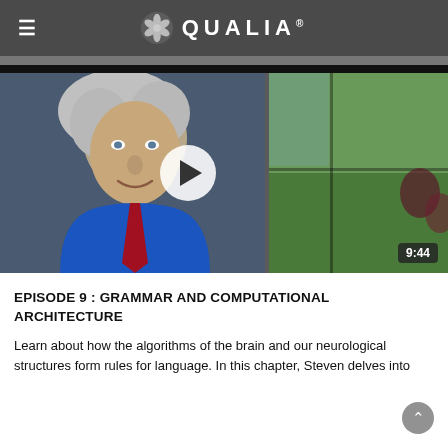QUALIA
[Figure (screenshot): Video thumbnail showing a man with curly gray hair wearing a blue shirt and red tie, seated in front of a window with greenery outside. A white play button circle is overlaid in the center. Duration badge shows 9:44 in bottom right corner.]
EPISODE 9 : GRAMMAR AND COMPUTATIONAL ARCHITECTURE
Learn about how the algorithms of the brain and our neurological structures form rules for language. In this chapter, Steven delves into